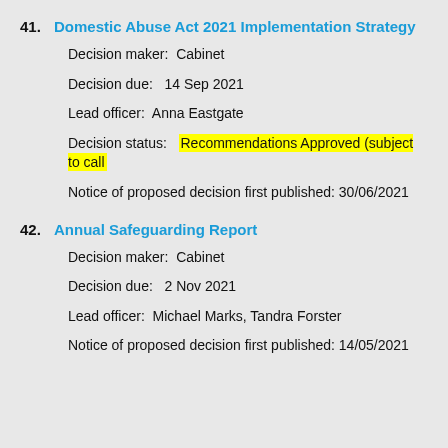41. Domestic Abuse Act 2021 Implementation Strategy
Decision maker:  Cabinet
Decision due:   14 Sep 2021
Lead officer:  Anna Eastgate
Decision status:   Recommendations Approved (subject to call
Notice of proposed decision first published: 30/06/2021
42. Annual Safeguarding Report
Decision maker:  Cabinet
Decision due:   2 Nov 2021
Lead officer:  Michael Marks, Tandra Forster
Notice of proposed decision first published: 14/05/2021